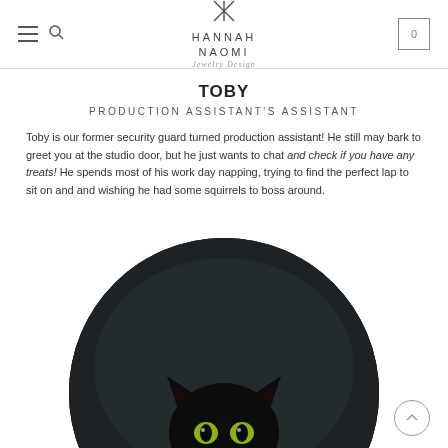HANNAH NAOMI Jewelry Design
TOBY
PRODUCTION ASSISTANT'S ASSISTANT
Toby is our former security guard turned production assistant! He still may bark to greet you at the studio door, but he just wants to chat and check if you have any treats! He spends most of his work day napping, trying to find the perfect lap to sit on and and wishing he had some squirrels to boss around.
[Figure (photo): Black cat with green/yellow eyes looking at camera, positioned in front of an orange pumpkin, photographed in a circular crop with dark background]